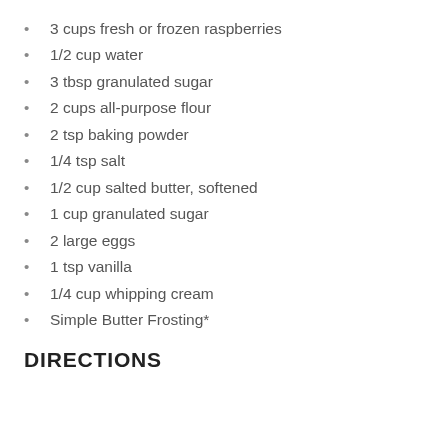3 cups fresh or frozen raspberries
1/2 cup water
3 tbsp granulated sugar
2 cups all-purpose flour
2 tsp baking powder
1/4 tsp salt
1/2 cup salted butter, softened
1 cup granulated sugar
2 large eggs
1 tsp vanilla
1/4 cup whipping cream
Simple Butter Frosting*
DIRECTIONS